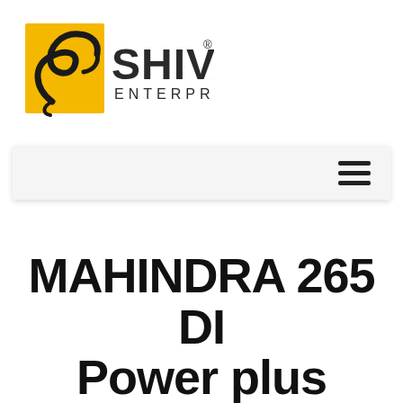[Figure (logo): Shiva Enterprise logo: yellow square with stylized S letterform in black script, text SHIVA in large dark serif letters with registered trademark symbol, ENTERPRISE in smaller spaced letters below]
[Figure (other): Navigation bar with hamburger menu icon (three horizontal lines) on the right side]
MAHINDRA 265 DI Power plus